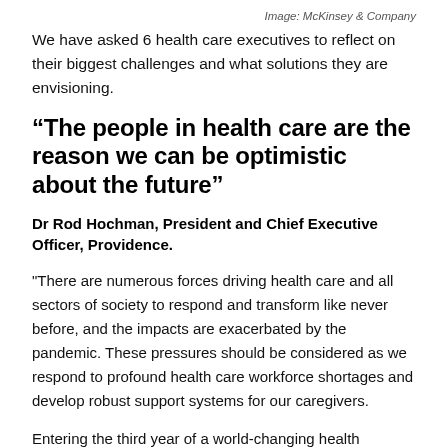Image: McKinsey & Company
We have asked 6 health care executives to reflect on their biggest challenges and what solutions they are envisioning.
“The people in health care are the reason we can be optimistic about the future”
Dr Rod Hochman, President and Chief Executive Officer, Providence.
"There are numerous forces driving health care and all sectors of society to respond and transform like never before, and the impacts are exacerbated by the pandemic. These pressures should be considered as we respond to profound health care workforce shortages and develop robust support systems for our caregivers.
Entering the third year of a world-changing health disaster, health systems have been rapidly adapting to both meet the needs of patients and care for their caregivers. We are using